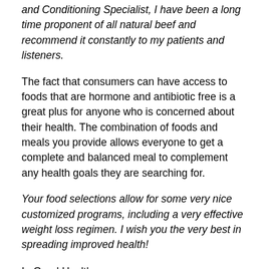and Conditioning Specialist, I have been a long time proponent of all natural beef and recommend it constantly to my patients and listeners.
The fact that consumers can have access to foods that are hormone and antibiotic free is a great plus for anyone who is concerned about their health. The combination of foods and meals you provide allows everyone to get a complete and balanced meal to complement any health goals they are searching for.
Your food selections allow for some very nice customized programs, including a very effective weight loss regimen. I wish you the very best in spreading improved health!
In Good Health,
LEN LOPEZ, DC, CCN, CSCS